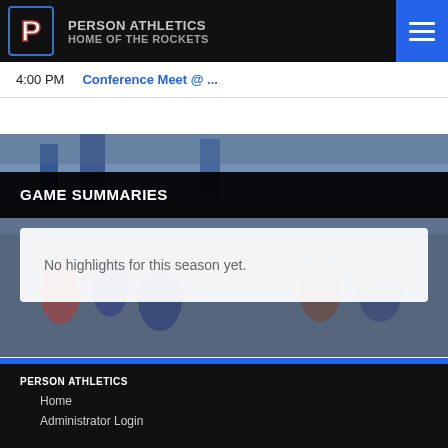PERSON ATHLETICS HOME OF THE ROCKETS
4:00 PM   Conference Meet @ ...
[Figure (screenshot): Background photo of gymnasium crowd with blue and dark overlay]
GAME SUMMARIES
No highlights for this season yet.
PERSON ATHLETICS
Home
Administrator Login